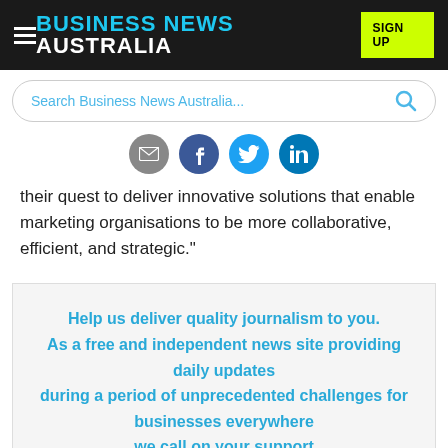BUSINESS NEWS AUSTRALIA
[Figure (screenshot): Social share icons: email (grey), Facebook (dark blue), Twitter (light blue), LinkedIn (blue)]
their quest to deliver innovative solutions that enable marketing organisations to be more collaborative, efficient, and strategic."
Help us deliver quality journalism to you.
As a free and independent news site providing daily updates
during a period of unprecedented challenges for businesses everywhere
we call on your support